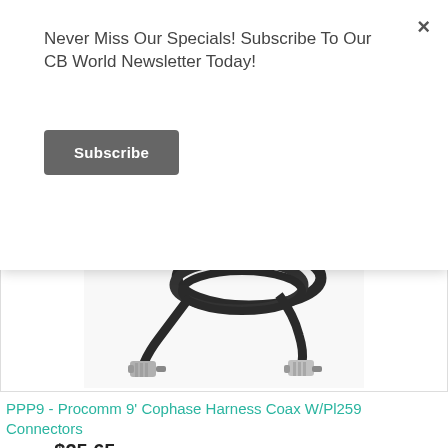Never Miss Our Specials! Subscribe To Our CB World Newsletter Today!
Subscribe
[Figure (photo): Coaxial cable with PL259 connectors on a white background. Dark cable coiled, with two silver/white connectors visible at the ends.]
PPP9 - Procomm 9' Cophase Harness Coax W/Pl259 Connectors
$32.06 $25.65
PPP9 - Procomm 9' Cophase Harness Coax W/Pl259 Connectors
Availability: In stock